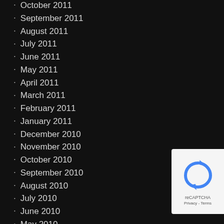October 2011
September 2011
August 2011
July 2011
June 2011
May 2011
April 2011
March 2011
February 2011
January 2011
December 2010
November 2010
October 2010
September 2010
August 2010
July 2010
June 2010
May 2010
April 2010
March 2010
February 2010
January 2010
[Figure (other): Google reCAPTCHA badge with Privacy and Terms links]